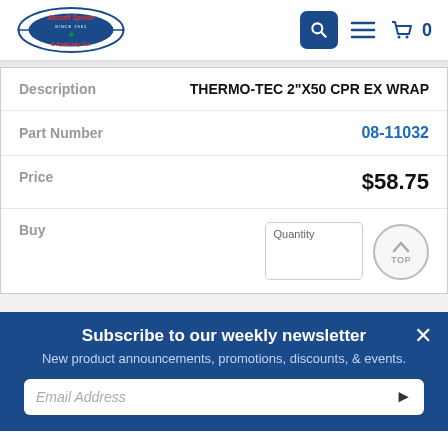[Figure (logo): Aircraft Spruce & Specialty Co. logo with navigation icons (search, hamburger menu, cart with 0)]
| Label | Value |
| --- | --- |
| Description | THERMO-TEC 2"X50 CPR EX WRAP |
| Part Number | 08-11032 |
| Price | $58.75 |
| Buy | Quantity |
Subscribe to our weekly newsletter
New product announcements, promotions, discounts, & events.
Email Address